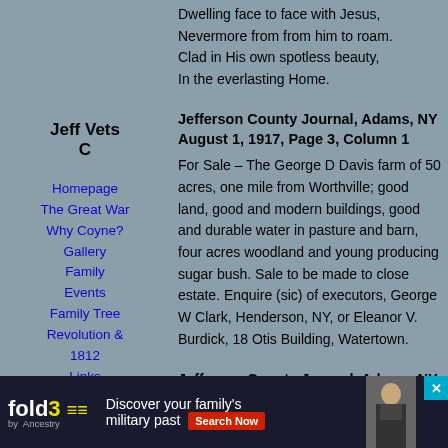Dwelling face to face with Jesus,
Nevermore from from him to roam.
Clad in His own spotless beauty,
In the everlasting Home.
Jeff Vets C
Homepage
The Great War
Why Coyne?
Gallery
Family
Events
Family Tree
Revolution & 1812
Links
Contact me
My Blog
Jefferson County Journal, Adams, NY August 1, 1917, Page 3, Column 1
For Sale – The George D Davis farm of 50 acres, one mile from Worthville; good land, good and modern buildings, good and durable water in pasture and barn, four acres woodland and young producing sugar bush. Sale to be made to close estate. Enquire (sic) of executors, George W Clark, Henderson, NY, or Eleanor V. Burdick, 18 Otis Building, Watertown.
Jefferson County Journal, Adams, NY, Wednesday, August 8, 1917, Page 1, Column 5
[Figure (infographic): fold3 advertisement banner: 'Discover your family's military past' with Search Now button and civil war soldier image]